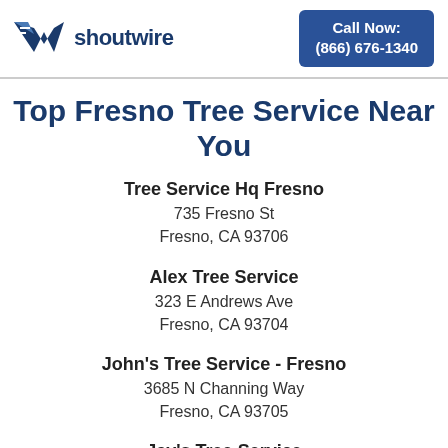shoutwire | Call Now: (866) 676-1340
Top Fresno Tree Service Near You
Tree Service Hq Fresno
735 Fresno St
Fresno, CA 93706
Alex Tree Service
323 E Andrews Ave
Fresno, CA 93704
John's Tree Service - Fresno
3685 N Channing Way
Fresno, CA 93705
Jay's Tree Service